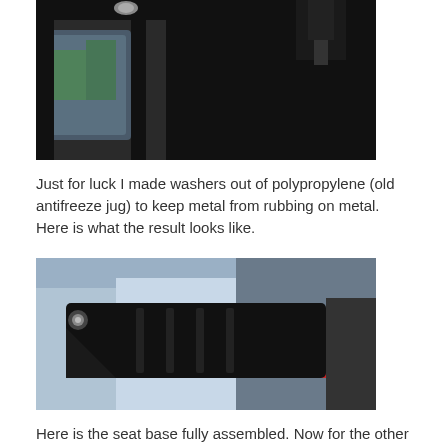[Figure (photo): Close-up photo of a black metal bracket/frame assembly with a bolt and hardware, in a garage/workshop setting with products visible in background.]
Just for luck I made washers out of polypropylene (old antifreeze jug) to keep metal from rubbing on metal.  Here is what the result looks like.
[Figure (photo): Photo of a black metal seat base component fully assembled, lying flat in a workshop, with product boxes visible in the background.]
Here is the seat base fully assembled.   Now for the other side…
[Figure (photo): Partial photo of another assembly in progress, showing black metal parts in a workshop setting.]